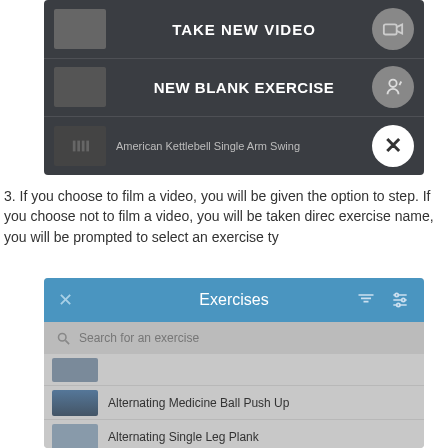[Figure (screenshot): App screenshot showing dark overlay menu with options: TAKE NEW VIDEO, NEW BLANK EXERCISE, and a close (X) button over exercise list items including Alternating Single Leg Plank and American Kettlebell Single Arm Swing]
3. If you choose to film a video, you will be given the option to step. If you choose not to film a video, you will be taken direc exercise name, you will be prompted to select an exercise ty
[Figure (screenshot): App screenshot showing Exercises screen with blue header, search bar, and list of exercises: (partial first item), Alternating Medicine Ball Push Up, Alternating Single Leg Plank, and a partial fourth item]